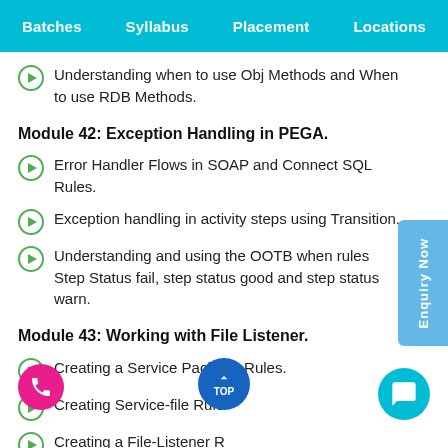Batches  Syllabus  Placement  Locations
Understanding when to use Obj Methods and When to use RDB Methods.
Module 42: Exception Handling in PEGA.
Error Handler Flows in SOAP and Connect SQL Rules.
Exception handling in activity steps using Transition.
Understanding and using the OOTB when rules Step Status fail, step status good and step status warn.
Module 43: Working with File Listener.
Creating a Service Package Rules.
Creating Service-file Rule
Creating a File-Listener Rule
Implementing a scenario with File Listener to load the